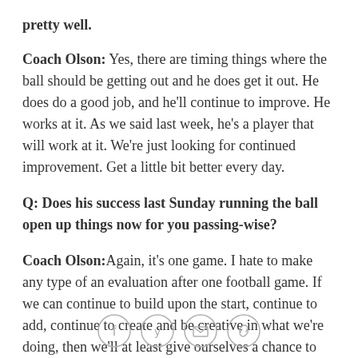pretty well.
Coach Olson: Yes, there are timing things where the ball should be getting out and he does get it out. He does do a good job, and he'll continue to improve. He works at it. As we said last week, he's a player that will work at it. We're just looking for continued improvement. Get a little bit better every day.
Q: Does his success last Sunday running the ball open up things now for you passing-wise?
Coach Olson: Again, it's one game. I hate to make any type of an evaluation after one football game. If we can continue to build upon the start, continue to add, continue to create and be creative in what we're doing, then we'll at least give ourselves a chance to win a